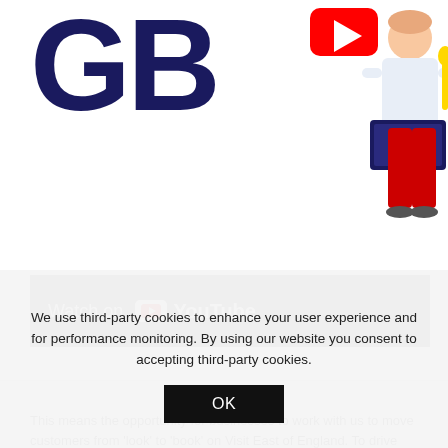[Figure (screenshot): Screenshot of a webpage showing large 'GB' letters in dark navy, a YouTube video thumbnail with a person holding a laptop, and a 'Watch on YouTube' dark bar.]
This means the opportunity for businesses to work with us to move customers from 'look' to 'book' on Visit East of England. To drive sales for you, to be part of our marketing activity for the East of England. And to benefit from a distribution channel that offers no connection fee.
We use third-party cookies to enhance your user experience and for performance monitoring. By using our website you consent to accepting third-party cookies.